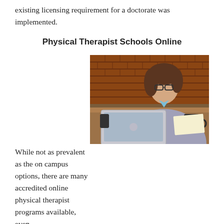existing licensing requirement for a doctorate was implemented.
Physical Therapist Schools Online
[Figure (photo): A woman with glasses and brown hair sitting at a desk working on a laptop computer, with a brick wall in the background and a mug on the desk.]
While not as prevalent as the on campus options, there are many accredited online physical therapist programs available, even more at the graduate level. Due to the hands-on nature of the training, clinical lab work and internships are incorporated with the online classes. This requires that the student live close to the college campus or nearby an available internship. However, the online segment of the program can be accessed within the convenience and comfort of the